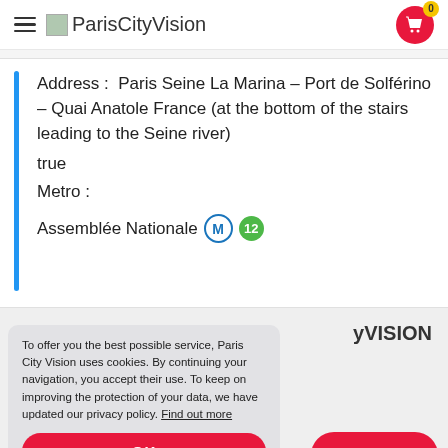ParisCityVision
Address : Paris Seine La Marina – Port de Solférino – Quai Anatole France (at the bottom of the stairs leading to the Seine river)
true
Metro :
Assemblée Nationale M 12
yVISION
To offer you the best possible service, Paris City Vision uses cookies. By continuing your navigation, you accept their use. To keep on improving the protection of your data, we have updated our privacy policy. Find out more
OK
Book Now